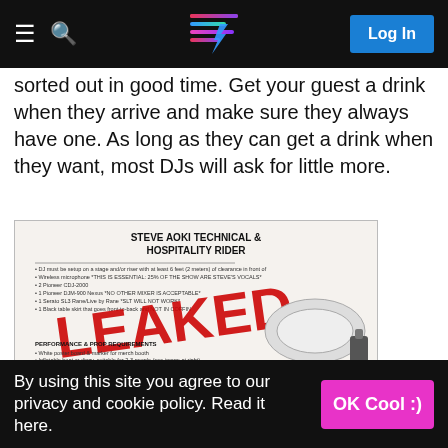Navigation bar with menu, search, logo, and Log In button
sorted out in good time. Get your guest a drink when they arrive and make sure they always have one. As long as they can get a drink when they want, most DJs will ask for little more.
[Figure (photo): Steve Aoki Technical & Hospitality Rider document with a large red LEAKED watermark stamped over it, showing bullet points about equipment requirements and performance & prop requirements including inflatable boat or dinghy, confetti blast machines, handheld CO2 air blower, and stairs from downstage edge to Pit area.]
Steve Aoki's infamous leaked rider. Most are less...
By using this site you agree to our privacy and cookie policy. Read it here.  OK Cool :)